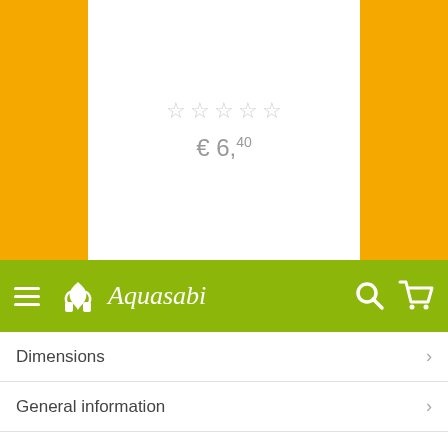€ 6,40
[Figure (screenshot): Aquasabi e-commerce mobile website navigation bar with green background, hamburger menu, logo, search icon, and cart icon]
Dimensions
General information
Customers ask customers
Customer reviews
We're here for you!
Read our FAQ
Send us a question
nochec@aquasabi.com